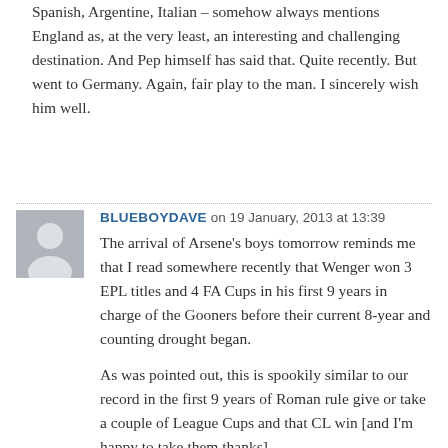Spanish, Argentine, Italian – somehow always mentions England as, at the very least, an interesting and challenging destination. And Pep himself has said that. Quite recently. But went to Germany. Again, fair play to the man. I sincerely wish him well.
BLUEBOYDAVE on 19 January, 2013 at 13:39
The arrival of Arsene's boys tomorrow reminds me that I read somewhere recently that Wenger won 3 EPL titles and 4 FA Cups in his first 9 years in charge of the Gooners before their current 8-year and counting drought began.

As was pointed out, this is spookily similar to our record in the first 9 years of Roman rule give or take a couple of League Cups and that CL win [and I'm happy to take them thanks]